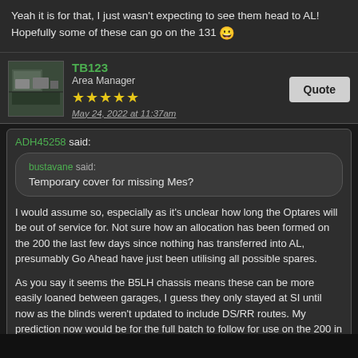Yeah it is for that, I just wasn't expecting to see them head to AL! Hopefully some of these can go on the 131 😀
TB123
Area Manager
★★★★★
May 24, 2022 at 11:37am
ADH45258 said:
bustavane said:
Temporary cover for missing Mes?
I would assume so, especially as it's unclear how long the Optares will be out of service for. Not sure how an allocation has been formed on the 200 the last few days since nothing has transferred into AL, presumably Go Ahead have just been utilising all possible spares.

As you say it seems the B5LH chassis means these can be more easily loaned between garages, I guess they only stayed at SI until now as the blinds weren't updated to include DS/RR routes. My prediction now would be for the full batch to follow for use on the 200 in the short term, later moving to C for the 264 until